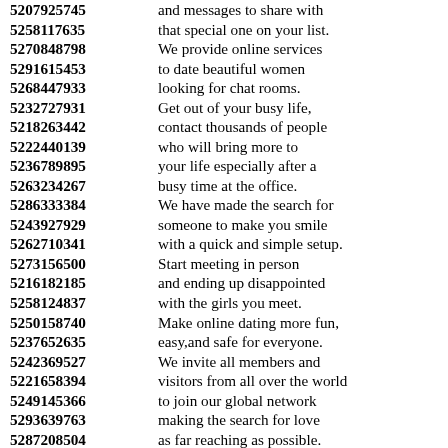5207925745 and messages to share with
5258117635 that special one on your list.
5270848798 We provide online services
5291615453 to date beautiful women
5268447933 looking for chat rooms.
5232727931 Get out of your busy life,
5218263442 contact thousands of people
5222440139 who will bring more to
5236789895 your life especially after a
5263234267 busy time at the office.
5286333384 We have made the search for
5243927929 someone to make you smile
5262710341 with a quick and simple setup.
5273156500 Start meeting in person
5216182185 and ending up disappointed
5258124837 with the girls you meet.
5250158740 Make online dating more fun,
5237652635 easy,and safe for everyone.
5242369527 We invite all members and
5221658394 visitors from all over the world
5249145366 to join our global network
5293639763 making the search for love
5287208504 as far reaching as possible.
5264367778 You will make connections
5228783651 with the information provided
5220036893 without face to face contact